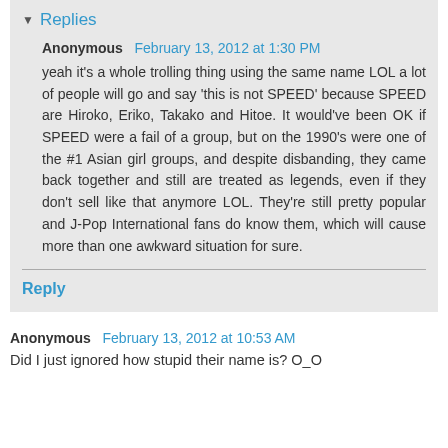Replies
Anonymous  February 13, 2012 at 1:30 PM
yeah it's a whole trolling thing using the same name LOL a lot of people will go and say 'this is not SPEED' because SPEED are Hiroko, Eriko, Takako and Hitoe. It would've been OK if SPEED were a fail of a group, but on the 1990's were one of the #1 Asian girl groups, and despite disbanding, they came back together and still are treated as legends, even if they don't sell like that anymore LOL. They're still pretty popular and J-Pop International fans do know them, which will cause more than one awkward situation for sure.
Reply
Anonymous  February 13, 2012 at 10:53 AM
Did I just ignored how stupid their name is? O_O